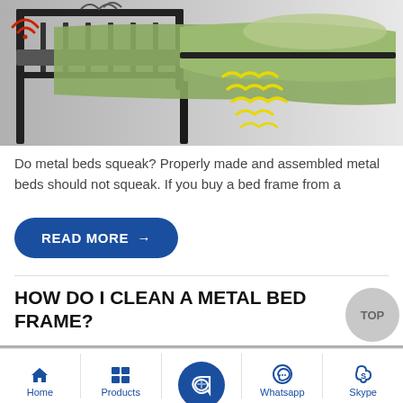[Figure (illustration): Illustration of a black metal bed frame with green bedding and a yellow glowing/squeaking highlight at the foot of the bed, shown on a gray background. A red WiFi-like wave icon appears in the top-left corner.]
Do metal beds squeak? Properly made and assembled metal beds should not squeak. If you buy a bed frame from a
[Figure (other): Dark blue rounded rectangle button with white bold text READ MORE and a right arrow icon]
HOW DO I CLEAN A METAL BED FRAME?
[Figure (photo): Partial image strip showing what appears to be a metal surface or metal bed frame, cut off at the bottom of the visible page area]
Home | Products | [center button] | Whatsapp | Skype